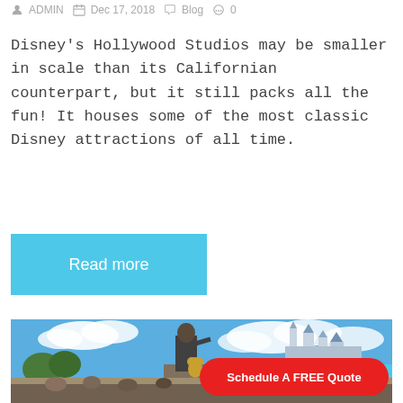ADMIN  Dec 17, 2018  Blog  0
Disney's Hollywood Studios may be smaller in scale than its Californian counterpart, but it still packs all the fun! It houses some of the most classic Disney attractions of all time.
Read more
[Figure (photo): Bronze statue of Walt Disney and Mickey Mouse in front of Cinderella Castle at Disney World, with crowds of visitors in background and blue sky with clouds above.]
Schedule A FREE Quote